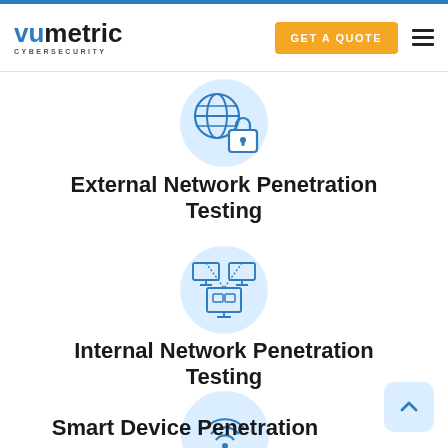[Figure (logo): Vumetric Cybersecurity logo with blue 'vu' and black 'metric' text, CYBERSECURITY subtitle]
[Figure (other): Orange 'GET A QUOTE' button and hamburger menu icon]
[Figure (illustration): Globe with padlock icon in blue circle]
External Network Penetration Testing
[Figure (illustration): Network servers/computers icon in blue circle]
Internal Network Penetration Testing
[Figure (illustration): WiFi router icon in blue circle]
Smart Device Penetration